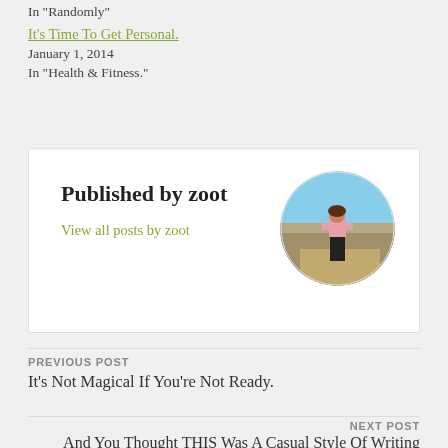In "Randomly"
It's Time To Get Personal.
January 1, 2014
In "Health & Fitness."
Published by zoot
View all posts by zoot
[Figure (photo): Circular profile photo of a person (zoot) standing on a hilltop with hands on hips, wearing pink top and dark pants, landscape view in background]
PREVIOUS POST
It's Not Magical If You're Not Ready.
NEXT POST
And You Thought THIS Was A Casual Style Of Writing